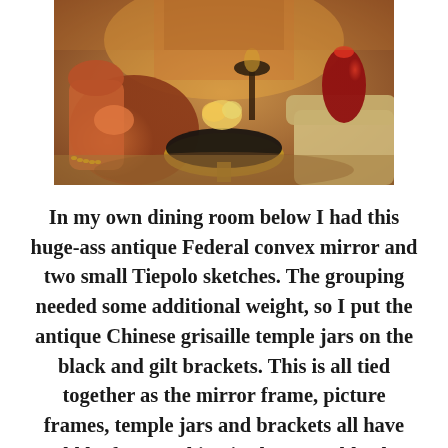[Figure (photo): Interior photo of an elegant living/dining room with ornate furniture including orange/terracotta armchairs, a round gold and dark marble coffee table, floral arrangements, a red vase, and warm lighting.]
In my own dining room below I had this huge-ass antique Federal convex mirror and two small Tiepolo sketches. The grouping needed some additional weight, so I put the antique Chinese grisaille temple jars on the black and gilt brackets. This is all tied together as the mirror frame, picture frames, temple jars and brackets all have gold leaf. Everything in the ensemble also has a dark graphite color